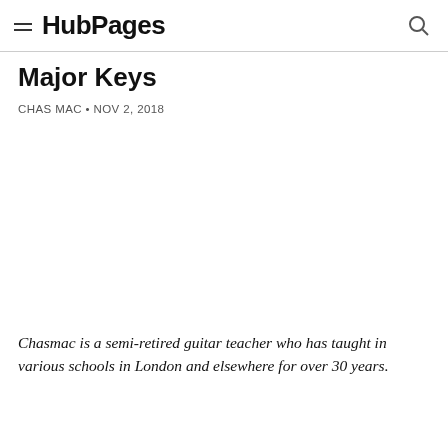HubPages
Major Keys
CHAS MAC • NOV 2, 2018
[Figure (other): Blank white image placeholder area]
Chasmac is a semi-retired guitar teacher who has taught in various schools in London and elsewhere for over 30 years.